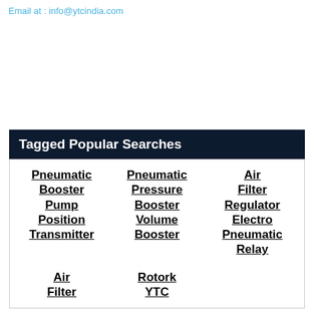Email at : info@ytcindia.com
Tagged Popular Searches
Pneumatic Booster Pump
Pneumatic Pressure Booster Volume Booster
Air Filter Regulator Electro Pneumatic Relay
Air Filter
Rotork YTC